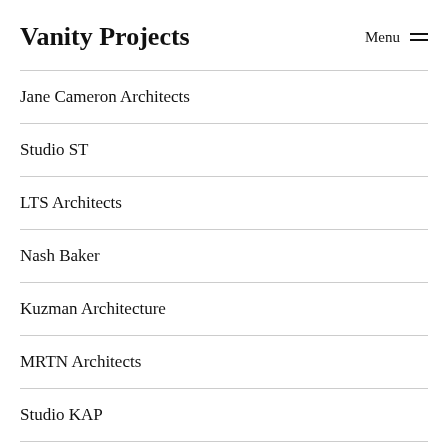Vanity Projects
Jane Cameron Architects
Studio ST
LTS Architects
Nash Baker
Kuzman Architecture
MRTN Architects
Studio KAP
MATA Architects